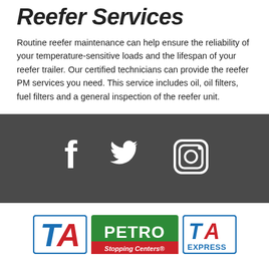Reefer Services
Routine reefer maintenance can help ensure the reliability of your temperature-sensitive loads and the lifespan of your reefer trailer. Our certified technicians can provide the reefer PM services you need. This service includes oil, oil filters, fuel filters and a general inspection of the reefer unit.
[Figure (infographic): Dark grey social media bar with white icons for Facebook, Twitter, and Instagram]
[Figure (logo): Three brand logos: TA (blue), PETRO Stopping Centers (green/red), and TA Express (blue)]
About Us    Investors